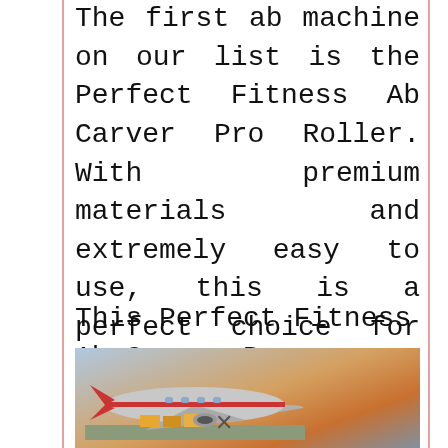The first ab machine on our list is the Perfect Fitness Ab Carver Pro Roller. With premium materials and extremely easy to use, this is a perfect choice for the best exercise machine to lose belly fat you should choose to buy. This exercise machine is best known for its use to help you practice the core exercises needed specifically for the belly area.
This Perfect Fitness Ab Carver Pro
[Figure (photo): Advertisement banner showing an airplane being loaded with cargo on a tarmac, with text overlay 'WITHOUT REGARD TO POLITICS, RELIGION OR HEALTH TO PAY' on a dark blue background on the right side.]